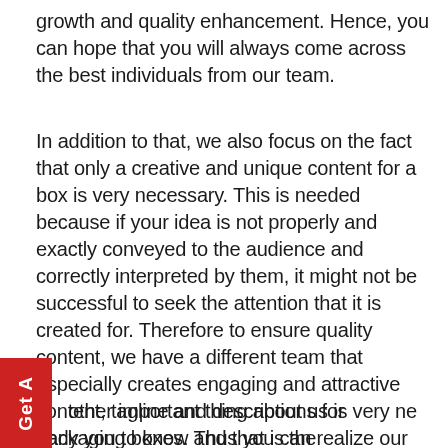growth and quality enhancement. Hence, you can hope that you will always come across the best individuals from our team.
In addition to that, we also focus on the fact that only a creative and unique content for a box is very necessary. This is needed because if your idea is not properly and exactly conveyed to the audience and correctly interpreted by them, it might not be successful to seek the attention that it is created for. Therefore to ensure quality content, we have a different team that especially creates engaging and attractive content, tagline and descriptions for packaging boxes. Thus you can realize our dedication towards quality service because we only believe in creativity. Whether it's the manufacturing of the boxes or the creation of their content, we don't follow others rather we make them follow us.
other important thing about us is very ne early you to know and that is the convenience and